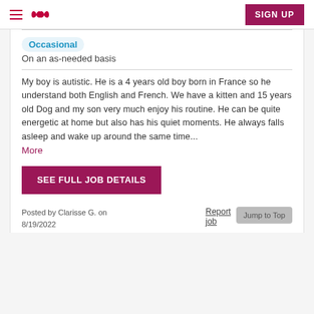SIGN UP
Occasional
On an as-needed basis
My boy is autistic. He is a 4 years old boy born in France so he understand both English and French. We have a kitten and 15 years old Dog and my son very much enjoy his routine. He can be quite energetic at home but also has his quiet moments. He always falls asleep and wake up around the same time... More
SEE FULL JOB DETAILS
Posted by Clarisse G. on 8/19/2022
Report job
Jump to Top